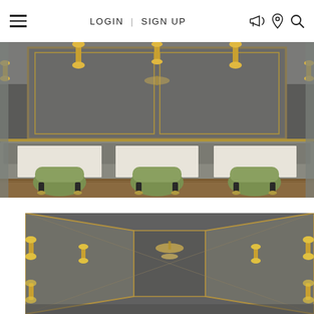≡   LOGIN | SIGN UP   [icons: megaphone, location, search]
[Figure (photo): Interior of an upscale restaurant dining room with grey velvet banquette seating, three green accent chairs, white table settings, gold wall sconces with hourglass shape, aged mirror wall panels with gold frames, parquet wood floor, and hanging chandelier.]
[Figure (photo): Interior corridor or hall view of the same upscale restaurant showing mirrored walls with gold-framed panels, multiple gold hourglass-shaped wall sconces on both sides, a crystal chandelier in the background, and a grey ceiling.]